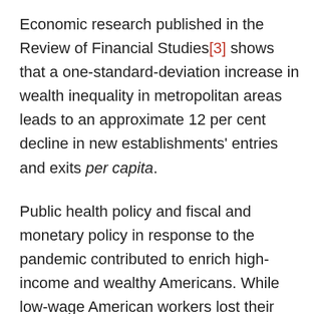Economic research published in the Review of Financial Studies[3] shows that a one-standard-deviation increase in wealth inequality in metropolitan areas leads to an approximate 12 per cent decline in new establishments' entries and exits per capita.
Public health policy and fiscal and monetary policy in response to the pandemic contributed to enrich high-income and wealthy Americans. While low-wage American workers lost their jobs, the stock market soared and annual home price growth accelerated.
The labour market recovery was also uneven. One year after the first US COVID-19 case, high-wage employment had nearly completely recovered to its pre-pandemic level. Yet